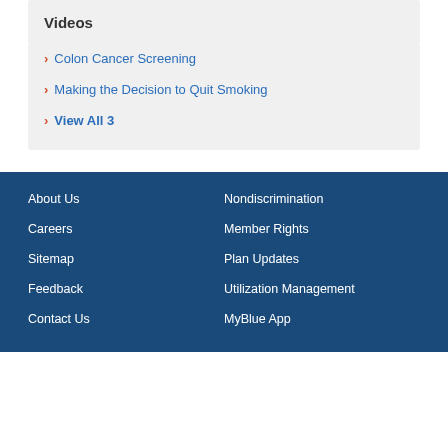Videos
Colon Cancer Screening
Making the Decision to Quit Smoking
View All 3
About Us | Nondiscrimination | Careers | Member Rights | Sitemap | Plan Updates | Feedback | Utilization Management | Contact Us | MyBlue App